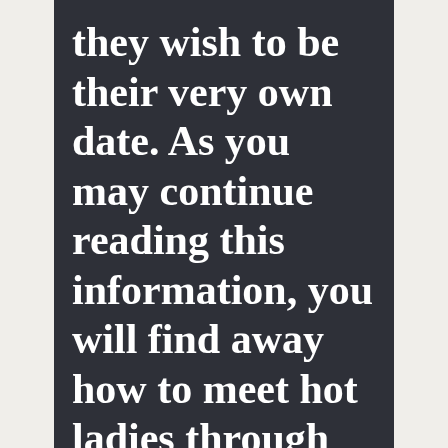they wish to be their very own date. As you may continue reading this information, you will find away how to meet hot ladies through